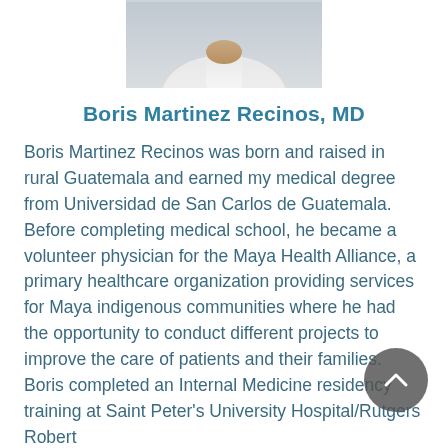[Figure (photo): Partial photo of Boris Martinez Recinos, MD, showing upper torso in what appears to be a white lab coat, cropped at neck/chin, centered at top of page.]
Boris Martinez Recinos, MD
Boris Martinez Recinos was born and raised in rural Guatemala and earned my medical degree from Universidad de San Carlos de Guatemala. Before completing medical school, he became a volunteer physician for the Maya Health Alliance, a primary healthcare organization providing services for Maya indigenous communities where he had the opportunity to conduct different projects to improve the care of patients and their families. Boris completed an Internal Medicine residency training at Saint Peter's University Hospital/Rutgers Robert